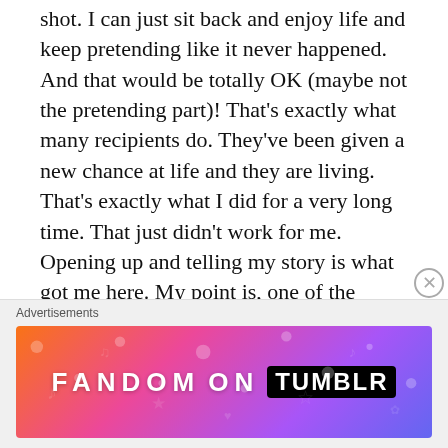shot. I can just sit back and enjoy life and keep pretending like it never happened. And that would be totally OK (maybe not the pretending part)! That's exactly what many recipients do. They've been given a new chance at life and they are living. That's exactly what I did for a very long time. That just didn't work for me. Opening up and telling my story is what got me here. My point is, one of the coolest parts of organ donation is that there is this huge community of us that still get to be here, that are healthy, happy, and living our lives, and because of how well organ donation
Advertisements
[Figure (illustration): Fandom on Tumblr advertisement banner with colorful gradient background (orange to pink to purple) with decorative icons and bold white text reading 'FANDOM ON tumblr']